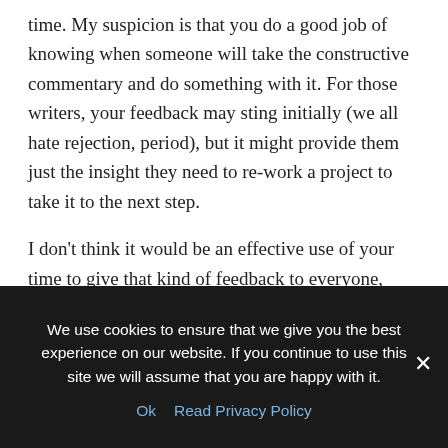time. My suspicion is that you do a good job of knowing when someone will take the constructive commentary and do something with it. For those writers, your feedback may sting initially (we all hate rejection, period), but it might provide them just the insight they need to re-work a project to take it to the next step.
I don't think it would be an effective use of your time to give that kind of feedback to everyone, especially those who have faaar to go before they're ready for representation or publication. (There are good critique services available that can offer that kind of feedback; you shouldn't be expected to do it for free!)
We use cookies to ensure that we give you the best experience on our website. If you continue to use this site we will assume that you are happy with it.
Ok   Read Privacy Policy